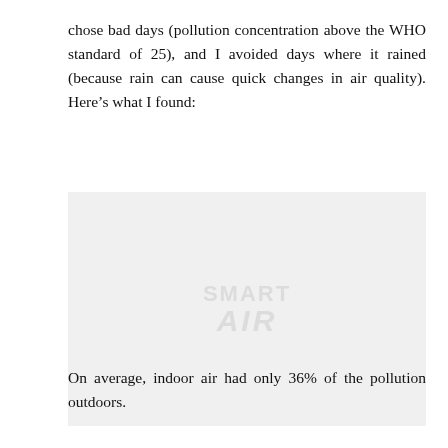chose bad days (pollution concentration above the WHO standard of 25), and I avoided days where it rained (because rain can cause quick changes in air quality). Here’s what I found:
[Figure (photo): A blank light gray image placeholder with a 'Smart Air' watermark logo in the center.]
On average, indoor air had only 36% of the pollution outdoors.